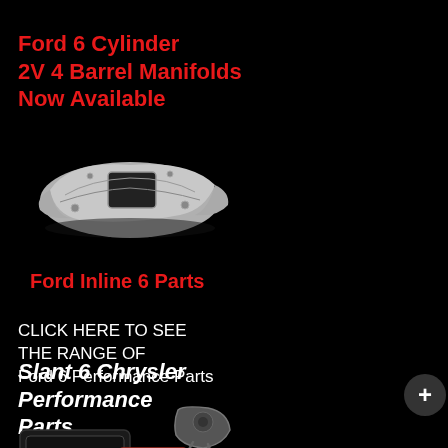Ford 6 Cylinder 2V 4 Barrel Manifolds Now Available
[Figure (photo): Silver/chrome Ford inline 6 cylinder intake manifold with 4 barrel carburetor opening, viewed from an angle on black background]
Ford Inline 6 Parts
CLICK HERE TO SEE THE RANGE OF Ford 6 Performance Parts
[Figure (other): AUD currency button (salmon/pink colored rectangle) and dark circular plus button on right side]
Slant 6 Chrysler Performance Parts
[Figure (photo): Chrysler Slant 6 performance parts including a black valve cover, red intake manifold, and a carburetor/throttle body component on black background]